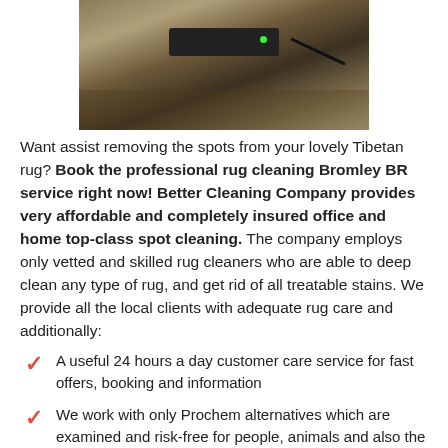[Figure (photo): Photo of a rug or mat on a wooden floor with an electronic device (router/modem) placed on top, with a cable trailing off to the right.]
Want assist removing the spots from your lovely Tibetan rug? Book the professional rug cleaning Bromley BR service right now! Better Cleaning Company provides very affordable and completely insured office and home top-class spot cleaning. The company employs only vetted and skilled rug cleaners who are able to deep clean any type of rug, and get rid of all treatable stains. We provide all the local clients with adequate rug care and additionally:
A useful 24 hours a day customer care service for fast offers, booking and information
We work with only Prochem alternatives which are examined and risk-free for people, animals and also the natural environment
We work 365 days per year with versatile cleaning hours